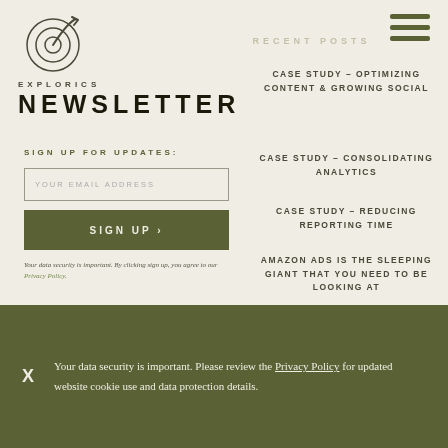[Figure (logo): Explorics circular logo with stylized arrow/target icon]
EXPLORICS
[Figure (other): Hamburger menu icon with three horizontal lines]
RECENT POSTS
NEWSLETTER
SIGN UP FOR UPDATES:
YOUR EMAIL ADDRESS
SIGN UP >
Your data security is important. By clicking sign up, you agree to our Privacy Policy.
CASE STUDY – OPTIMIZING CONTENT & GROWING SOCIAL
CASE STUDY – CONSOLIDATING ANALYTICS
CASE STUDY – REDUCING REPORTING TIME
AMAZON ADS IS THE SLEEPING GIANT THAT YOU NEED TO BE LOOKING AT
Your data security is important. Please review the Privacy Policy for updated website cookie use and data protection details.